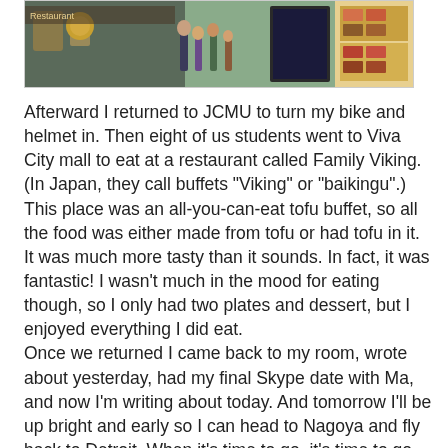[Figure (photo): A photograph showing the exterior of a restaurant or shop in Japan, with people visible near the entrance and menu boards displayed.]
Afterward I returned to JCMU to turn my bike and helmet in. Then eight of us students went to Viva City mall to eat at a restaurant called Family Viking. (In Japan, they call buffets "Viking" or "baikingu".) This place was an all-you-can-eat tofu buffet, so all the food was either made from tofu or had tofu in it. It was much more tasty than it sounds. In fact, it was fantastic! I wasn't much in the mood for eating though, so I only had two plates and dessert, but I enjoyed everything I did eat.
Once we returned I came back to my room, wrote about yesterday, had my final Skype date with Ma, and now I'm writing about today. And tomorrow I'll be up bright and early so I can head to Nagoya and fly back to Detroit. When it's time to go, it's time to go. I've accepted that, so I'm not sad that I'm leaving. This summer definitely didn't turn out how I thought it would, but I can honestly say that my life is different now and I'll never forget this time I've spent in here Japan. I know I'll be back.